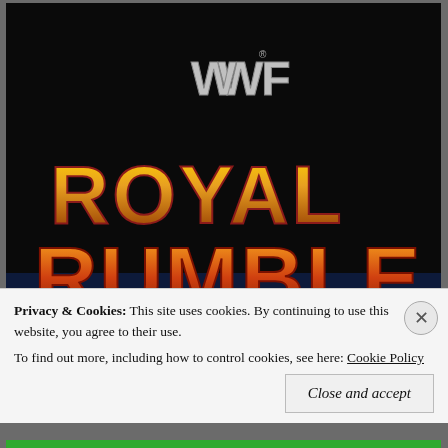[Figure (photo): WWF Royal Rumble logo/title screen on dark background. Large orange and red stylized letters spelling ROYAL RUMBLE with WWF logo above on a black background with blue at the bottom.]
Privacy & Cookies:  This site uses cookies. By continuing to use this website, you agree to their use.
To find out more, including how to control cookies, see here: Cookie Policy